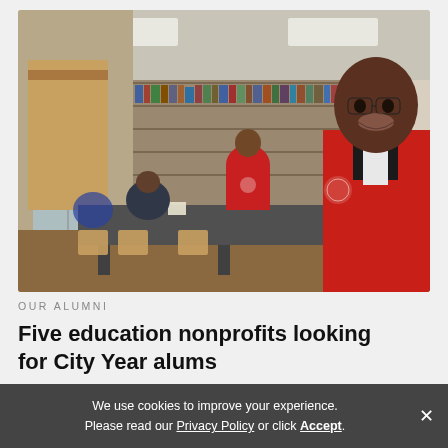[Figure (photo): Classroom scene with people wearing red City Year jackets helping students at tables. A smiling man with glasses in a red jacket stands in the foreground, with another person in a red jacket leaning over a table in the background. Bookshelves visible along the wall.]
OUR ALUMNI
Five education nonprofits looking for City Year alums
We use cookies to improve your experience. Please read our Privacy Policy or click Accept.